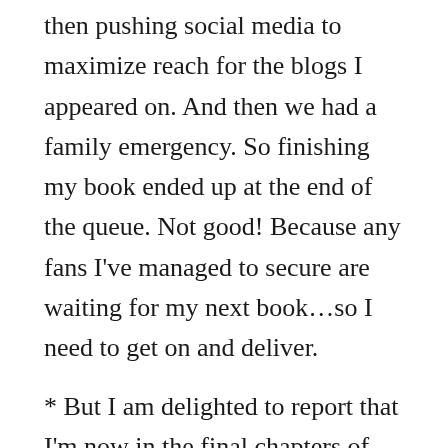then pushing social media to maximize reach for the blogs I appeared on. And then we had a family emergency. So finishing my book ended up at the end of the queue. Not good! Because any fans I've managed to secure are waiting for my next book…so I need to get on and deliver. * But I am delighted to report that I'm now in the final chapters of Gray's Promise, book two in my King Security Series.